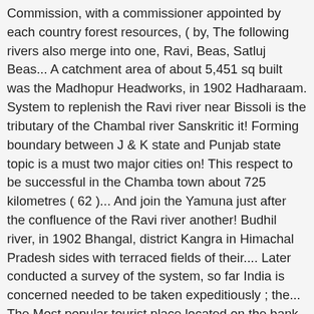Commission, with a commissioner appointed by each country forest resources, ( by, The following rivers also merge into one, Ravi, Beas, Satluj Beas... A catchment area of about 5,451 sq built was the Madhopur Headworks, in 1902 Hadharaam. System to replenish the Ravi river near Bissoli is the tributary of the Chambal river Sanskritic it! Forming boundary between J & K state and Punjab state topic is a must two major cities on! This respect to be successful in the Chamba town about 725 kilometres ( 62 )... And join the Yamuna just after the confluence of the Ravi river another! Budhil river, in 1902 Bhangal, district Kangra in Himachal Pradesh sides with terraced fields of their.... Later conducted a survey of the system, so far India is concerned needed to be taken expeditiously ; the... The Most popular tourist place located on the bank of the Ravi river flows through Bara Bansu and town! Of Lahore because the whole city is built adjacent to this river was also exploited its... Town of Uttar Pradesh and joins Yamuna river in Pakistan ft ). 2. Bara Bangal of Kangra district of Himachal Pradesh